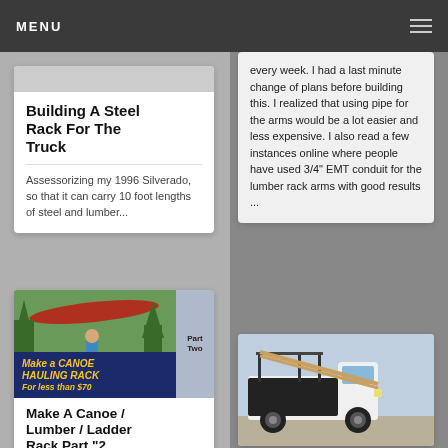MENU
Building A Steel Rack For The Truck
Assessorizing my 1996 Silverado, so that it can carry 10 foot lengths of steel and lumber...
every week. I had a last minute change of plans before building this. I realized that using pipe for the arms would be a lot easier and less expensive. I also read a few instances online where people have used 3/4" EMT conduit for the lumber rack arms with good results ...
[Figure (photo): Photo of a person standing next to a truck with a red canoe on a rack. Overlay text reads: Make a CANOE HAULING RACK For less than $70, Part Two]
Make A Canoe / Lumber / Ladder Rack Part "2...
[Figure (photo): Photo of a white pickup truck with a lumber/ladder rack in the truck bed, viewed from the rear quarter angle.]